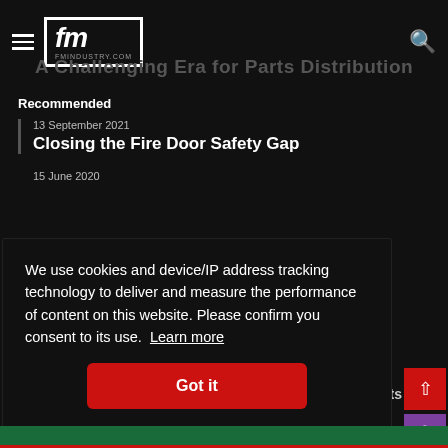fm fmindustry.com
Nature
A Challenging Era for Parts Distribution
Recommended
13 September 2021
Closing the Fire Door Safety Gap
15 June 2020
We use cookies and device/IP address tracking technology to deliver and measure the performance of content on this website. Please confirm you consent to its use. Learn more
Got it
hts